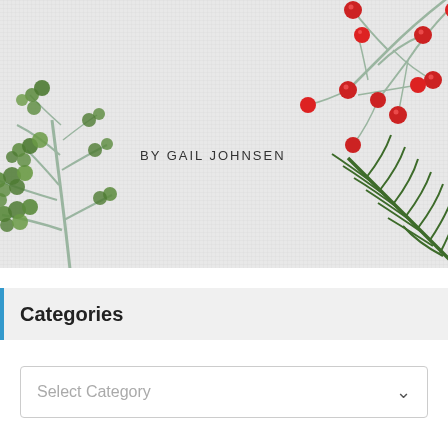[Figure (illustration): Botanical holiday illustration with green leafy branches on the left, red berries on branches in the upper right, and pine/fir branches in the lower right, on a light gray textured background. Text 'BY GAIL JOHNSEN' centered in the middle.]
Categories
Select Category